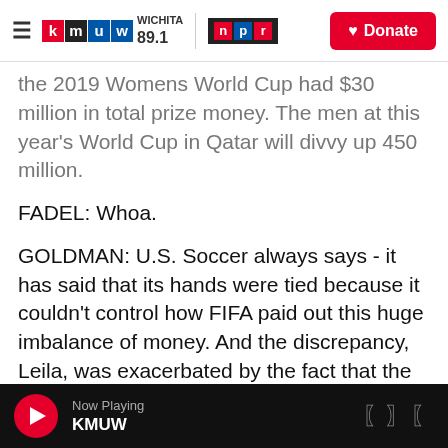KMUW Wichita 89.1 | NPR — Donate
the 2019 Womens World Cup had $30 million in total prize money. The men at this year's World Cup in Qatar will divvy up 450 million.
FADEL: Whoa.
GOLDMAN: U.S. Soccer always says - it has said that its hands were tied because it couldn't control how FIFA paid out this huge imbalance of money. And the discrepancy, Leila, was exacerbated by the fact that the U.S. women won the World Cup in 2015 and 2019, while the U.S. men didn't even qualify in 2018. So U.S. Soccer Federation and its men's and women's teams resolved this with a
Now Playing KMUW